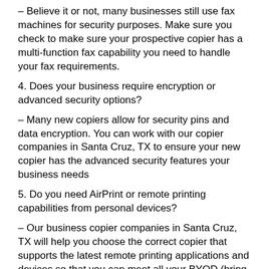– Believe it or not, many businesses still use fax machines for security purposes. Make sure you check to make sure your prospective copier has a multi-function fax capability you need to handle your fax requirements.
4. Does your business require encryption or advanced security options?
– Many new copiers allow for security pins and data encryption. You can work with our copier companies in Santa Cruz, TX to ensure your new copier has the advanced security features your business needs
5. Do you need AirPrint or remote printing capabilities from personal devices?
– Our business copier companies in Santa Cruz, TX will help you choose the correct copier that supports the latest remote printing applications and devices so that you can meet all your BYOD (bring your own